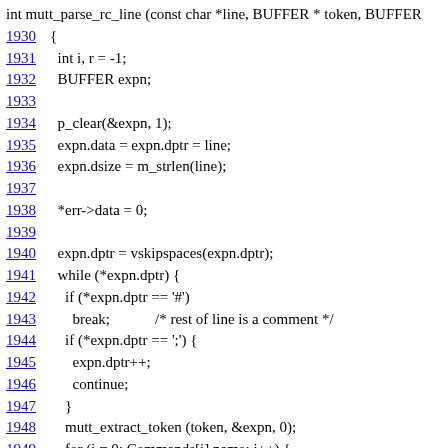[Figure (screenshot): Source code snippet showing the function int mutt_parse_rc_line with line numbers 1930-1952, displaying C code for parsing an rc line including variable declarations, buffer operations, loop with conditional statements, and function calls.]